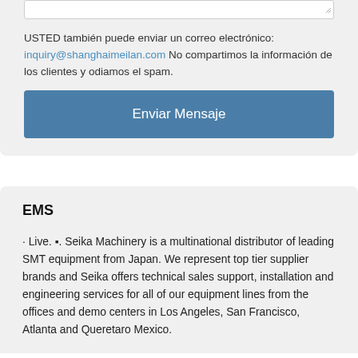[Figure (other): Textarea input field with resize handle]
USTED también puede enviar un correo electrónico: inquiry@shanghaimeilan.com No compartimos la información de los clientes y odiamos el spam.
Enviar Mensaje
EMS
· Live. ▪. Seika Machinery is a multinational distributor of leading SMT equipment from Japan. We represent top tier supplier brands and Seika offers technical sales support, installation and engineering services for all of our equipment lines from the offices and demo centers in Los Angeles, San Francisco, Atlanta and Queretaro Mexico.